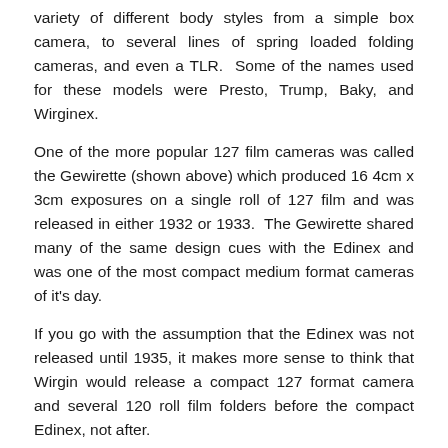variety of different body styles from a simple box camera, to several lines of spring loaded folding cameras, and even a TLR. Some of the names used for these models were Presto, Trump, Baky, and Wirginex.
One of the more popular 127 film cameras was called the Gewirette (shown above) which produced 16 4cm x 3cm exposures on a single roll of 127 film and was released in either 1932 or 1933. The Gewirette shared many of the same design cues with the Edinex and was one of the most compact medium format cameras of it's day.
If you go with the assumption that the Edinex was not released until 1935, it makes more sense to think that Wirgin would release a compact 127 format camera and several 120 roll film folders before the compact Edinex, not after.
In 1938 when Heinrich Wirgin fled Germany and the factory was taken over by Adox, the Edinex was renamed the Adox Adrette. The Adrette is almost indistinguishable from the Edinex other than a small Adox logo stamped into the top plate right above the frame